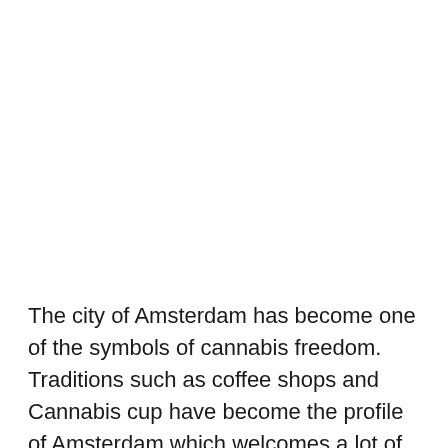The city of Amsterdam has become one of the symbols of cannabis freedom. Traditions such as coffee shops and Cannabis cup have become the profile of Amsterdam which welcomes a lot of tourists from different parts of the world since there will be no problem in smoking weed in this city. Whether you just want to buy so[Chat]a seeds to ...